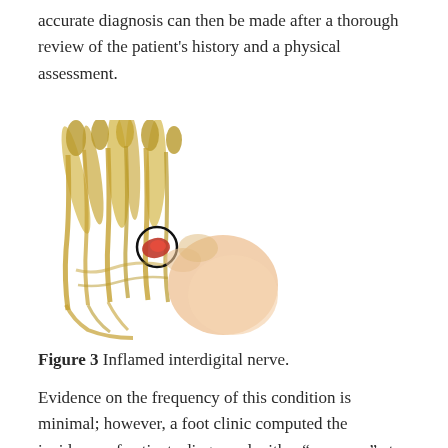accurate diagnosis can then be made after a thorough review of the patient's history and a physical assessment.
[Figure (illustration): Medical illustration of an inflamed interdigital nerve between toes, with a red highlighted area circled in black showing the nerve inflammation, surrounded by yellow-toned anatomical structures of the foot.]
Figure 3 Inflamed interdigital nerve.
Evidence on the frequency of this condition is minimal; however, a foot clinic computed the incidence of patients diagnosed with a “neuroma” at a rate of 9.3% of 4000 patients who complained of foot pain [10-12]. Although